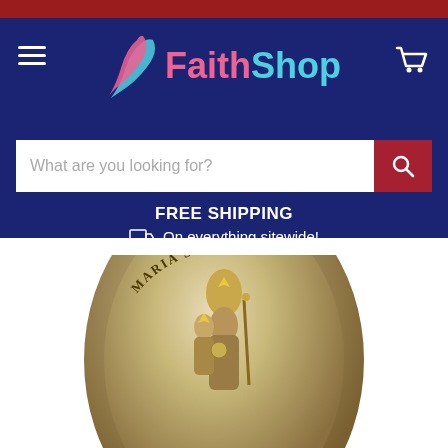FaithShop - Free Shipping on everything sitewide
FREE SHIPPING
On everything sitewide!
Subscribe for more deals.
[Figure (photo): Oval metal medallion/badge featuring Maria Stein religious imagery — a crowned Madonna figure holding a scepter with a child figure, text 'MARIA STEIN' arced around the top of the oval. Antique silver/gold tone finish.]